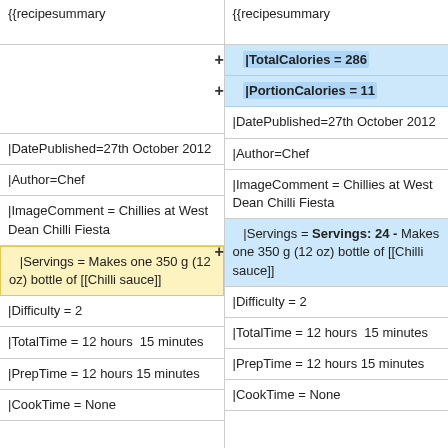{{recipesummary
{{recipesummary
|TotalCalories = 286
|PortionCalories = 11
|DatePublished=27th October 2012
|DatePublished=27th October 2012
|Author=Chef
|Author=Chef
|ImageComment = Chillies at West Dean Chilli Fiesta
|ImageComment = Chillies at West Dean Chilli Fiesta
|Servings = Makes one 350 g (12 oz) bottle of [[Chilli sauce]]
|Servings = Servings: 24 - Makes one 350 g (12 oz) bottle of [[Chilli sauce]]
|Difficulty = 2
|Difficulty = 2
|TotalTime = 12 hours  15 minutes
|TotalTime = 12 hours  15 minutes
|PrepTime = 12 hours 15 minutes
|PrepTime = 12 hours 15 minutes
|CookTime = None
|CookTime = None